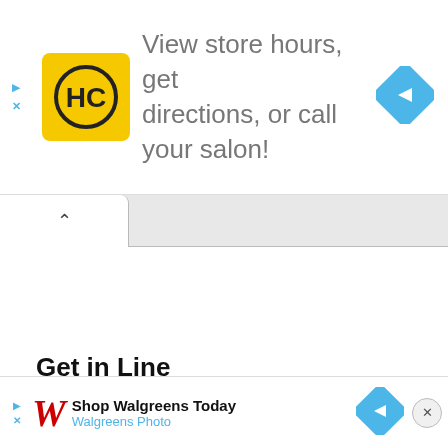[Figure (screenshot): Top advertisement banner: HC (Hair Cuttery) yellow logo on left, text 'View store hours, get directions, or call your salon!' in gray, blue navigation diamond icon on right. Play and X icons on far left.]
[Figure (screenshot): Browser tab bar showing a single open tab with an up-caret chevron icon]
Get in Line
Don't get too excited tough, the Roadster isn't scheduled to
[Figure (screenshot): Bottom advertisement banner: Walgreens W logo in red italic, 'Shop Walgreens Today' in bold black, 'Walgreens Photo' in blue, blue navigation diamond, close X button. Play and X icons on left.]